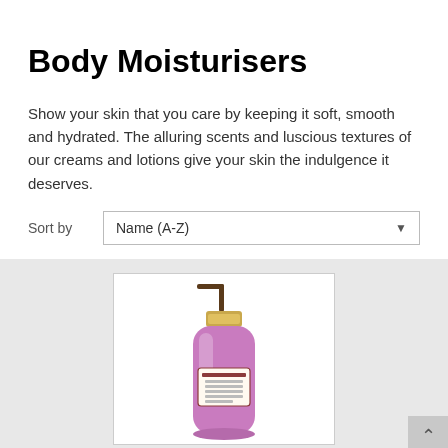Body Moisturisers
Show your skin that you care by keeping it soft, smooth and hydrated. The alluring scents and luscious textures of our creams and lotions give your skin the indulgence it deserves.
Sort by   Name (A-Z)
[Figure (photo): A pump-top bottle of purple/pink body wash or moisturiser with a gold pump dispenser and a burgundy label, displayed against a white background within a product card on a light grey product grid.]